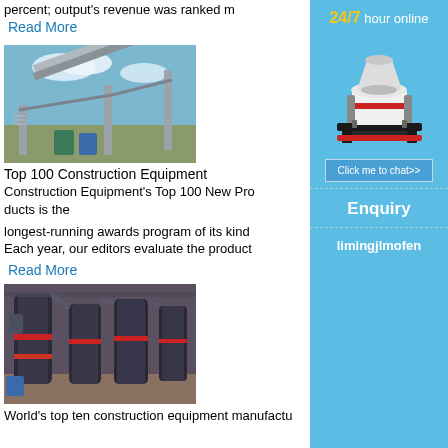percent; output's revenue was ranked m
Read More
[Figure (photo): Conveyor belt / construction equipment installation at an outdoor industrial site with steel frame structure]
Top 100 Construction Equipment
Construction Equipment's Top 100 New Products is the longest-running awards program of its kind. Each year, our editors evaluate the products
Read More
[Figure (photo): Industrial grinding mill machines with dark cylindrical bodies and red accents in a factory setting]
World's top ten construction equipment manufactu
[Figure (infographic): Side advertisement panel: 24/7 hour online, cone crusher machine image, Click me to chat>> button, Enquiry section, limingjlmofen branding on blue background]